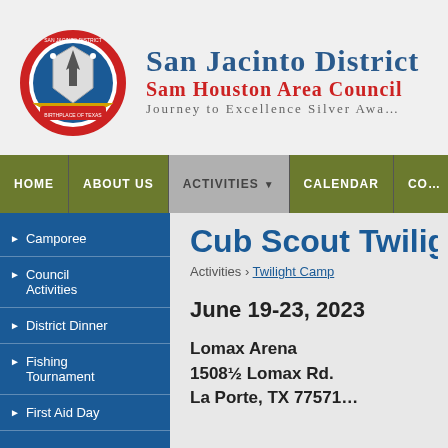[Figure (logo): San Jacinto District circular logo/seal]
San Jacinto District Sam Houston Area Council Journey to Excellence Silver Award
HOME | ABOUT US | ACTIVITIES | CALENDAR | CO...
Camporee
Council Activities
District Dinner
Fishing Tournament
First Aid Day
Cub Scout Twilight Camp
Activities > Twilight Camp
June 19-23, 2023
Lomax Arena
1508½ Lomax Rd.
La Porte, TX 77571